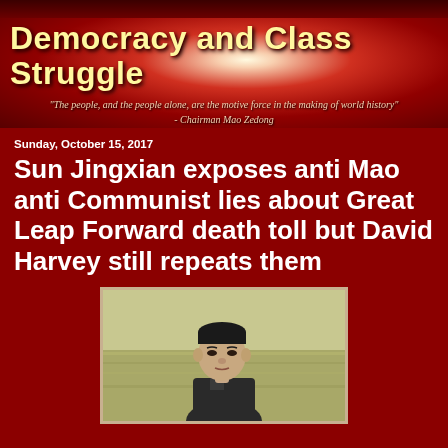Democracy and Class Struggle
"The people, and the people alone, are the motive force in the making of world history" - Chairman Mao Zedong
Sunday, October 15, 2017
Sun Jingxian exposes anti Mao anti Communist lies about Great Leap Forward death toll but David Harvey still repeats them
[Figure (photo): Portrait photograph of Chairman Mao Zedong]